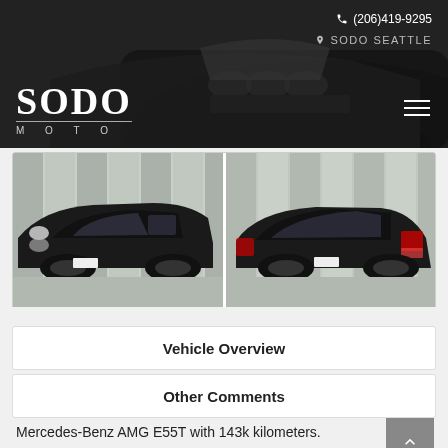(206)419-9295 | SODO SEATTLE
[Figure (photo): Header showing SODO MOTO dealership logo on dark background with car image, phone number (206)419-9295, location SODO SEATTLE, and hamburger menu icon]
[Figure (photo): Two photos of a black Mercedes-Benz AMG E55T wagon side by side - front 3/4 view on left, rear 3/4 view on right]
Vehicle Overview
Other Comments
Mercedes-Benz AMG E55T with 143k kilometers.
Exterior finished in Obsidian Black Metallic. Interior features